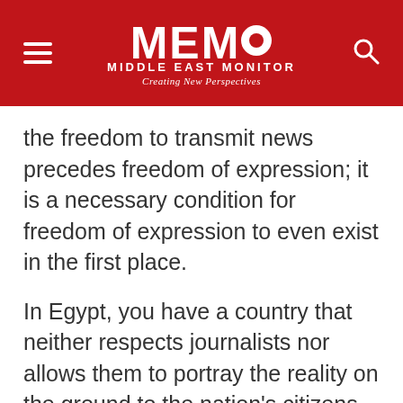MEMO MIDDLE EAST MONITOR Creating New Perspectives
the freedom to transmit news precedes freedom of expression; it is a necessary condition for freedom of expression to even exist in the first place.
In Egypt, you have a country that neither respects journalists nor allows them to portray the reality on the ground to the nation's citizens. In Egypt, the search for freedom of expression is akin to being a filmmaker who owns no camera or film: impossible to enact.
For a year and a half I have been left in an